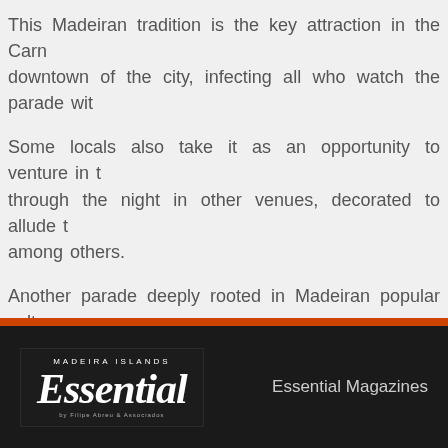This Madeiran tradition is the key attraction in the Carn downtown of the city, infecting all who watch the parade wit
Some locals also take it as an opportunity to venture in t through the night in other venues, decorated to allude t among others.
Another parade deeply rooted in Madeiran popular culture Tuesday, this year on February 25th, in Avenida do Mar, this from all areas of society, including politics. A more relaxed a
Other initiatives are also included in the programme, like Santana; Solidary Carnival and Children's Carnival, among ot
Essential Magazines